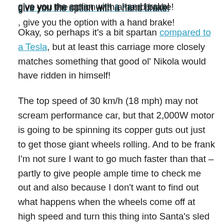give you the option with a hand brake!
Okay, so perhaps it's a bit spartan compared to a Tesla, but at least this carriage more closely matches something that good ol' Nikola would have ridden in himself!
The top speed of 30 km/h (18 mph) may not scream performance car, but that 2,000W motor is going to be spinning its copper guts out just to get those giant wheels rolling. And to be frank I'm not sure I want to go much faster than that – partly to give people ample time to check me out and also because I don't want to find out what happens when the wheels come off at high speed and turn this thing into Santa's sled instead.
By today's standards, the five bricks of 12V 80Ah lead acid batteries may sound quaint. But that nearly 5 kWh battery